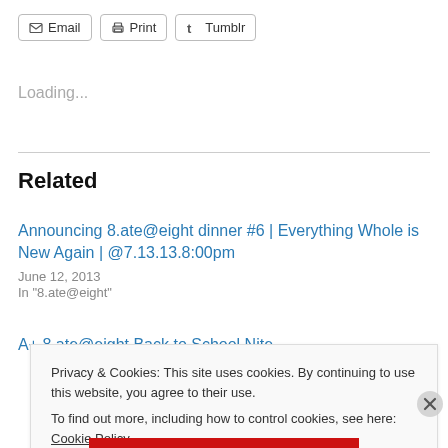[Figure (other): Toolbar with Email, Print, and Tumblr share buttons]
Loading...
Related
Announcing 8.ate@eight dinner #6 | Everything Whole is New Again | @7.13.13.8:00pm
June 12, 2013
In "8.ate@eight"
A+ 8.ate@eight Back to School Nite
Privacy & Cookies: This site uses cookies. By continuing to use this website, you agree to their use.
To find out more, including how to control cookies, see here: Cookie Policy
Close and accept